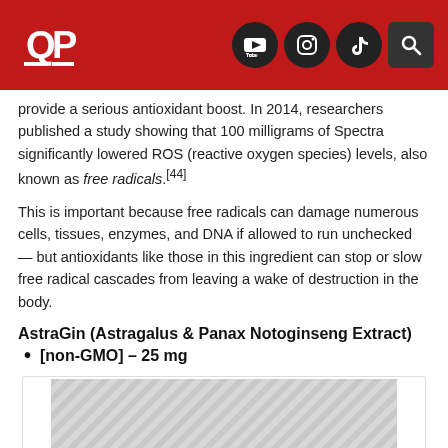QP logo with YouTube, Instagram, TikTok, and Search icons
provide a serious antioxidant boost. In 2014, researchers published a study showing that 100 milligrams of Spectra significantly lowered ROS (reactive oxygen species) levels, also known as free radicals.[44]
This is important because free radicals can damage numerous cells, tissues, enzymes, and DNA if allowed to run unchecked — but antioxidants like those in this ingredient can stop or slow free radical cascades from leaving a wake of destruction in the body.
AstraGin (Astragalus & Panax Notoginseng Extract)
[non-GMO] – 25 mg
[Figure (illustration): AstraGin product/ingredient image with diagonal stripe pattern background and text reading ASTRAGIN® ACTIVATES MANY ACTIVE TRANSPORTERS, SUCH]